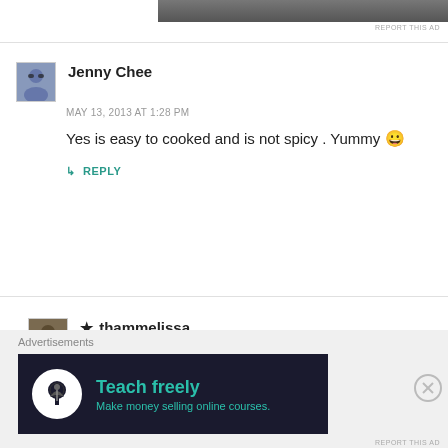[Figure (photo): Partial image of a person at the top right, with 'REPORT THIS AD' text below it]
Jenny Chee
MAY 13, 2013 AT 1:28 PM
Yes is easy to cooked and is not spicy . Yummy 😀
↳ REPLY
★ thammelissa
MAY 15, 2013 AT 9:50 AM
Jenny – yahh....High 5! 😉
↳ REPLY
Advertisements
[Figure (screenshot): Dark advertisement banner reading 'Teach freely – Make money selling online courses' with a tree/person icon]